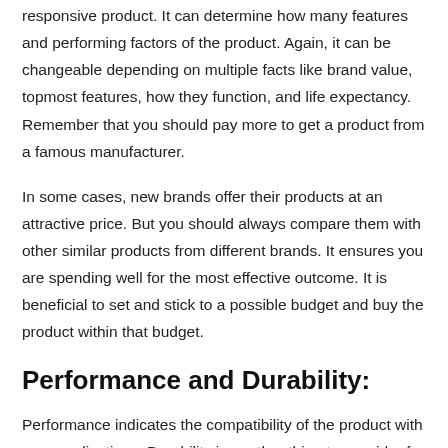responsive product. It can determine how many features and performing factors of the product. Again, it can be changeable depending on multiple facts like brand value, topmost features, how they function, and life expectancy. Remember that you should pay more to get a product from a famous manufacturer.
In some cases, new brands offer their products at an attractive price. But you should always compare them with other similar products from different brands. It ensures you are spending well for the most effective outcome. It is beneficial to set and stick to a possible budget and buy the product within that budget.
Performance and Durability:
Performance indicates the compatibility of the product with your applications. Durability is another thing to consider for justifying your investment. You should look at both performance and durability of the respective product.